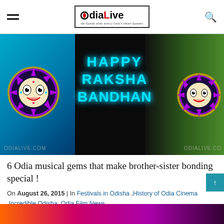OdiaLive — we Speak what every Odia's Heart Speaks
[Figure (photo): Happy Raksha Bandhan greeting image with Jagannath decorations on a dark background with cyan neon text reading HAPPY RAKSHA BANDHAN, watermarks ODIALIVE.COM on both sides]
6 Odia musical gems that make brother-sister bonding special !
On August 26, 2015 | In Festivals in Odisha ,History of Odia Cinema ,Incredible Odisha ,Odia Film News